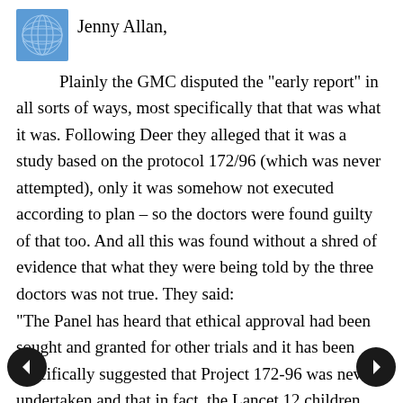[Figure (illustration): Blue avatar icon with globe/network pattern]
Jenny Allan,
Plainly the GMC disputed the "early report" in all sorts of ways, most specifically that that was what it was. Following Deer they alleged that it was a study based on the protocol 172/96 (which was never attempted), only it was somehow not executed according to plan – so the doctors were found guilty of that too. And all this was found without a shred of evidence that what they were being told by the three doctors was not true. They said:
“The Panel has heard that ethical approval had been sought and granted for other trials and it has been specifically suggested that Project 172-96 was never undertaken and that in fact, the Lancet 12 children investigation...